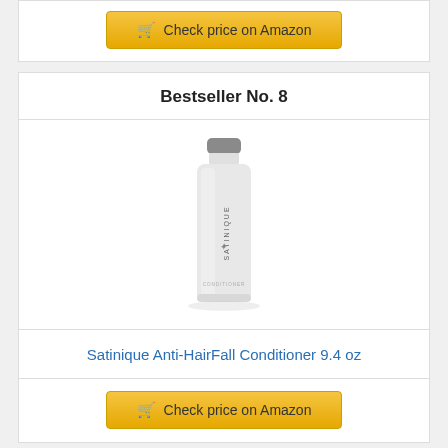Check price on Amazon
Bestseller No. 8
[Figure (photo): Satinique Anti-HairFall Conditioner 9.4 oz bottle — a tall white bottle with a grey cap]
Satinique Anti-HairFall Conditioner 9.4 oz
Check price on Amazon